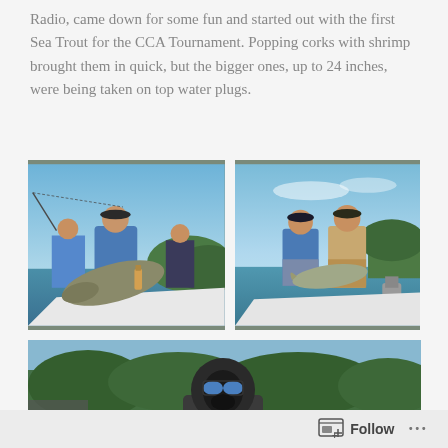Radio, came down for some fun and started out with the first Sea Trout for the CCA Tournament. Popping corks with shrimp brought them in quick, but the bigger ones, up to 24 inches, were being taken on top water plugs.
[Figure (photo): People on a fishing boat holding a large fish, blue sky background with vegetation]
[Figure (photo): Two people standing on a boat holding a fish, water and green trees in background]
[Figure (photo): Person wearing a balaclava/ski mask holding a large redfish on a boat, green trees and water in background]
Follow ···